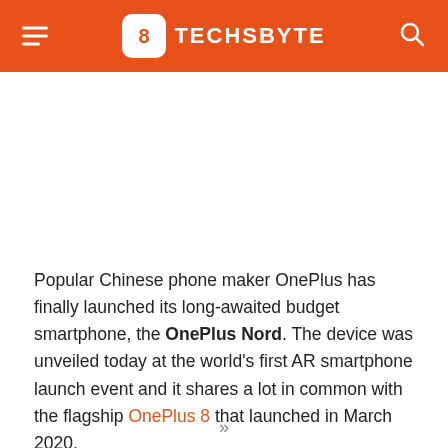TECHSBYTE
Popular Chinese phone maker OnePlus has finally launched its long-awaited budget smartphone, the OnePlus Nord. The device was unveiled today at the world's first AR smartphone launch event and it shares a lot in common with the flagship OnePlus 8 that launched in March 2020.